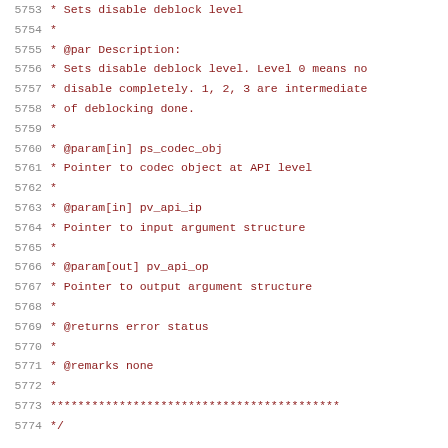Code comment block lines 5753-5774 showing disable deblock level documentation including @par Description, @param[in] ps_codec_obj, @param[in] pv_api_ip, @param[out] pv_api_op, @returns error status, @remarks none